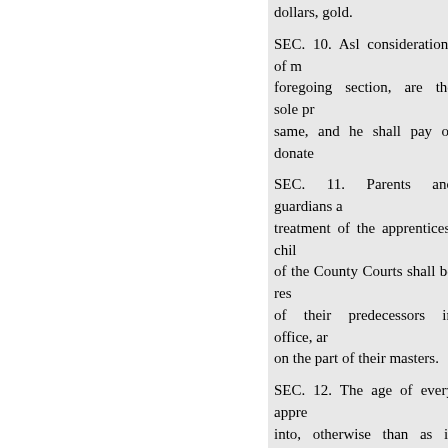dollars, gold.
SEC. 10. Asl considerations of m foregoing section, are the sole pr same, and he shall pay or donate
SEC. 11. Parents and guardians a treatment of the apprentices. chil of the County Courts shall be res of their predecessors in office, ar on the part of their masters.
SEC. 12. The age of every appre into, otherwise than as is herein p
SEC. 13. The County Court shall county, against their mas- compl allowance of food, raiment, or lo
ourt may
under age.
Liability of master.